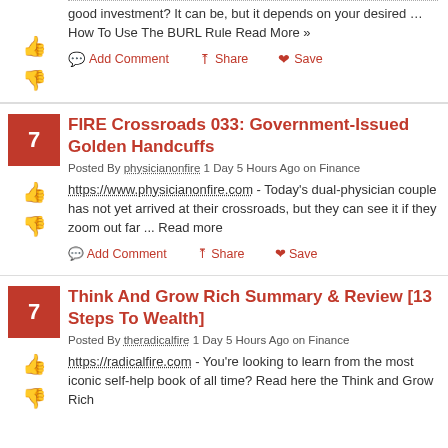good investment? It can be, but it depends on your desired … How To Use The BURL Rule Read More »
Add Comment | Share | Save
FIRE Crossroads 033: Government-Issued Golden Handcuffs
Posted By physicianonfire 1 Day 5 Hours Ago on Finance
https://www.physicianonfire.com - Today's dual-physician couple has not yet arrived at their crossroads, but they can see it if they zoom out far ... Read more
Add Comment | Share | Save
Think And Grow Rich Summary & Review [13 Steps To Wealth]
Posted By theradicalfire 1 Day 5 Hours Ago on Finance
https://radicalfire.com - You're looking to learn from the most iconic self-help book of all time? Read here the Think and Grow Rich